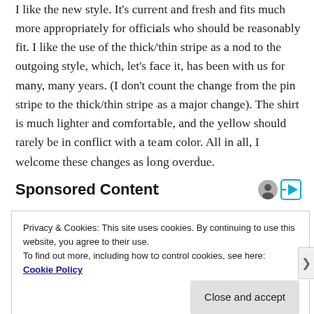I like the new style. It's current and fresh and fits much more appropriately for officials who should be reasonably fit. I like the use of the thick/thin stripe as a nod to the outgoing style, which, let's face it, has been with us for many, many years. (I don't count the change from the pin stripe to the thick/thin stripe as a major change). The shirt is much lighter and comfortable, and the yellow should rarely be in conflict with a team color. All in all, I welcome these changes as long overdue.
Sponsored Content
Privacy & Cookies: This site uses cookies. By continuing to use this website, you agree to their use.
To find out more, including how to control cookies, see here: Cookie Policy